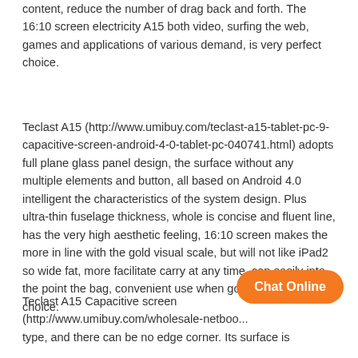content, reduce the number of drag back and forth. The 16:10 screen electricity A15 both video, surfing the web, games and applications of various demand, is very perfect choice.
Teclast A15 (http://www.umibuy.com/teclast-a15-tablet-pc-9-capacitive-screen-android-4-0-tablet-pc-040741.html) adopts full plane glass panel design, the surface without any multiple elements and button, all based on Android 4.0 intelligent the characteristics of the system design. Plus ultra-thin fuselage thickness, whole is concise and fluent line, has the very high aesthetic feeling, 16:10 screen makes the more in line with the gold visual scale, but will not like iPad2 so wide fat, more facilitate carry at any time, can easily into the point the bag, convenient use when going out. Beautiful choice.
Teclast A15 Capacitive screen (http://www.umibuy.com/wholesale-netboo... type, and there can be no edge corner. Its surface is
[Figure (other): Orange 'Chat Online' button overlay in the bottom-right area of the page]